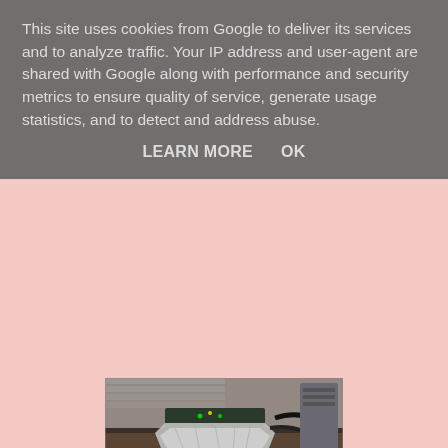This site uses cookies from Google to deliver its services and to analyze traffic. Your IP address and user-agent are shared with Google along with performance and security metrics to ensure quality of service, generate usage statistics, and to detect and address abuse.
LEARN MORE    OK
[Figure (photo): Photo of a BB XM single-board computer with foil wrapping, placed next to a RISC PC 600 computer]
BB XM - tiny when compared with a RISC PC 600
TBA has some boxed stock from the 1990s that will go on sale shortly.  For all the collectors of Acorn games in original packaging - these are genuine left over stock from the final Acorn World show.  I'll put up a post with a link to an eBay shop in the weeks to come.
The TBA titles include Dragonball, Axis, Formula Two